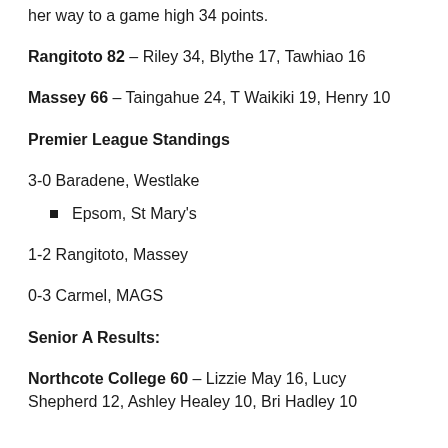her way to a game high 34 points.
Rangitoto 82 – Riley 34, Blythe 17, Tawhiao 16
Massey 66 – Taingahue 24, T Waikiki 19, Henry 10
Premier League Standings
3-0 Baradene, Westlake
Epsom, St Mary's
1-2 Rangitoto, Massey
0-3 Carmel, MAGS
Senior A Results:
Northcote College 60 – Lizzie May 16, Lucy Shepherd 12, Ashley Healey 10, Bri Hadley 10